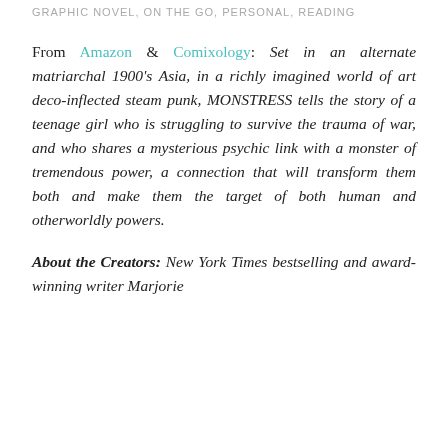GRAPHIC NOVEL, ON THE GO, PERSONAL, READING
From Amazon & Comixology: Set in an alternate matriarchal 1900’s Asia, in a richly imagined world of art deco-inflected steam punk, MONSTRESS tells the story of a teenage girl who is struggling to survive the trauma of war, and who shares a mysterious psychic link with a monster of tremendous power, a connection that will transform them both and make them the target of both human and otherworldly powers.
About the Creators: New York Times bestselling and award-winning writer Marjorie